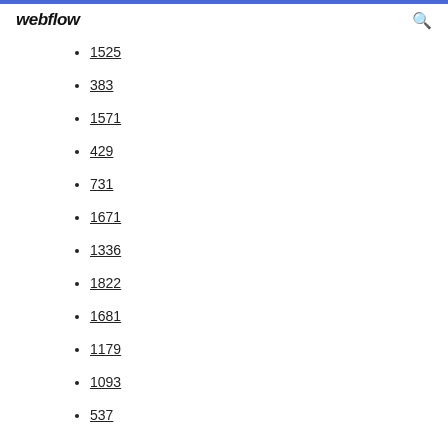webflow
1525
383
1571
429
731
1671
1336
1822
1681
1179
1093
537